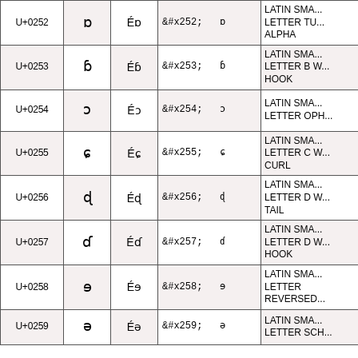| Code | Char | Image | HTML Entity | Name |
| --- | --- | --- | --- | --- |
| U+0252 | ɒ | Éɒ | &#x252;  ɒ | LATIN SMA... LETTER TU... ALPHA |
| U+0253 | ɓ | Éɓ | &#x253;  ɓ | LATIN SMA... LETTER B W... HOOK |
| U+0254 | ɔ | Éɔ | &#x254;  ɔ | LATIN SMA... LETTER OPH... |
| U+0255 | ɕ | Éɕ | &#x255;  ɕ | LATIN SMA... LETTER C W... CURL |
| U+0256 | ɖ | Éɖ | &#x256;  ɖ | LATIN SMA... LETTER D W... TAIL |
| U+0257 | ɗ | Éɗ | &#x257;  ɗ | LATIN SMA... LETTER D W... HOOK |
| U+0258 | ɘ | Éɘ | &#x258;  ɘ | LATIN SMA... LETTER REVERSED... |
| U+0259 | ə | Éə | &#x259;  ə | LATIN SMA... LETTER SCH... |